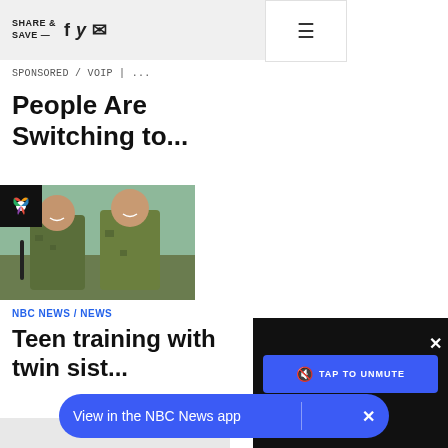SHARE & SAVE — [social icons] [hamburger menu]
SPONSORED / VOIP | ...
People Are Switching to...
[Figure (photo): Two teens in military camouflage uniforms smiling outdoors with trees in background; NBC logo overlay in top-left corner]
NBC NEWS / NEWS
Teen training with twin sist...
[Figure (screenshot): Dark panel overlay with blue 'TAP TO UNMUTE' button and X close button]
View in the NBC News app